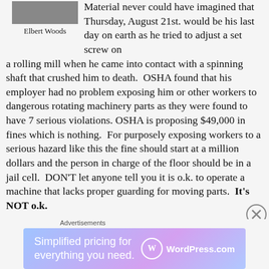[Figure (photo): Partial photo image of a person, cropped at top]
Elbert Woods
Material never could have imagined that Thursday, August 21st. would be his last day on earth as he tried to adjust a set screw on a rolling mill when he came into contact with a spinning shaft that crushed him to death. OSHA found that his employer had no problem exposing him or other workers to dangerous rotating machinery parts as they were found to have 7 serious violations. OSHA is proposing $49,000 in fines which is nothing. For purposely exposing workers to a serious hazard like this the fine should start at a million dollars and the person in charge of the floor should be in a jail cell. DON'T let anyone tell you it is o.k. to operate a machine that lacks proper guarding for moving parts. It's NOT o.k.
Advertisements
[Figure (other): WordPress.com advertisement banner: Simplified pricing for everything you need.]